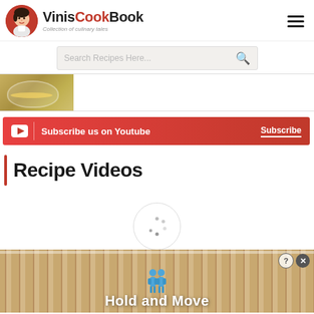VinisCookBook — Collection of culinary tales
Search Recipes Here...
[Figure (photo): Partial food image showing a bowl of soup/curry with green garnish]
Subscribe us on Youtube — Subscribe
Recipe Videos
[Figure (screenshot): Loading spinner circle with dots, and an advertisement banner at the bottom showing blue figures with text 'Hold and Move']